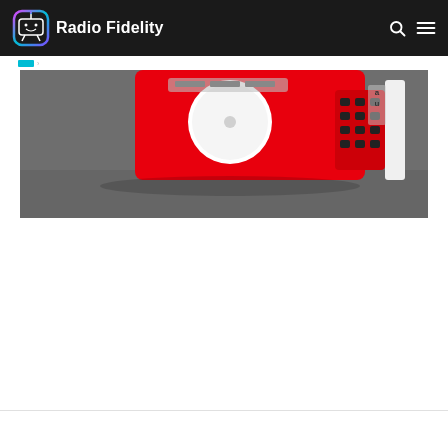Radio Fidelity
[Figure (photo): A red portable radio/audio device photographed from above against a gray background. The radio has a white circular dial and black keypad buttons visible on the right side. The image is partially cropped showing the top portion of the device.]